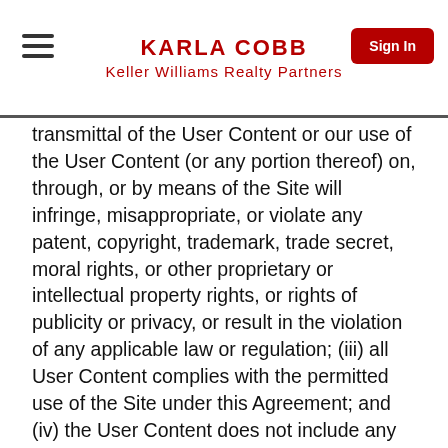KARLA COBB
Keller Williams Realty Partners
transmittal of the User Content or our use of the User Content (or any portion thereof) on, through, or by means of the Site will infringe, misappropriate, or violate any patent, copyright, trademark, trade secret, moral rights, or other proprietary or intellectual property rights, or rights of publicity or privacy, or result in the violation of any applicable law or regulation; (iii) all User Content complies with the permitted use of the Site under this Agreement; and (iv) the User Content does not include any false or misleading information and was not submitted under false pretenses. We may, but are not obligated to, (a) record, monitor, modify, or disclose User Content; (b) investigate a complaint that User Content violates this Agreement, and determine in our sole discretion whether to remove the User Content or take other action; (c) remove User Content if we determine in our sole discretion that a violation of the Agreement has occurred or may occur in the future; and/or (d) terminate a UserÆs access to the Site (or